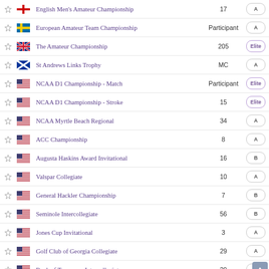| Fav | Country | Tournament | Score | Tier |
| --- | --- | --- | --- | --- |
| ☆ | England | English Men's Amateur Championship | 17 | A |
| ☆ | Sweden | European Amateur Team Championship | Participant | A |
| ☆ | GB | The Amateur Championship | 205 | Elite |
| ☆ | Scotland | St Andrews Links Trophy | MC | A |
| ☆ | USA | NCAA D1 Championship - Match | Participant | Elite |
| ☆ | USA | NCAA D1 Championship - Stroke | 15 | Elite |
| ☆ | USA | NCAA Myrtle Beach Regional | 34 | A |
| ☆ | USA | ACC Championship | 8 | A |
| ☆ | USA | Augusta Haskins Award Invitational | 16 | B |
| ☆ | USA | Valspar Collegiate | 10 | A |
| ☆ | USA | General Hackler Championship | 7 | B |
| ☆ | USA | Seminole Intercollegiate | 56 | B |
| ☆ | USA | Jones Cup Invitational | 3 | A |
| ☆ | USA | Golf Club of Georgia Collegiate | 29 | A |
| ☆ | USA | Bank of Tennessee Intercollegiate | 29 | B |
| ☆ | USA | Old Town Club Collegiate | 35 | B |
| ☆ | USA | Louisville Cardinal Challenge | 4 | B |
| ☆ | USA | U.S. Amateur Championship | 5 | Elite |